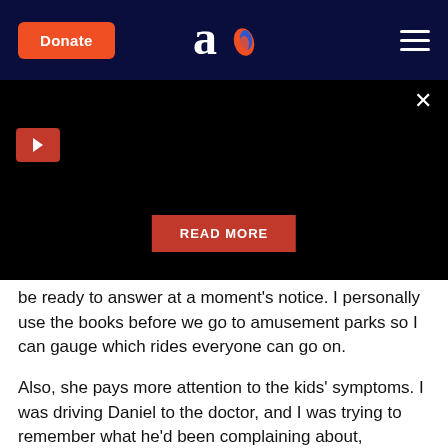Donate | [Aish logo] | Menu
[Figure (screenshot): Black video panel with play button (red), close X button, and a red READ MORE button at the bottom center]
be ready to answer at a moment's notice. I personally use the books before we go to amusement parks so I can gauge which rides everyone can go on.
Also, she pays more attention to the kids' symptoms. I was driving Daniel to the doctor, and I was trying to remember what he'd been complaining about, because I knew the doctor would test me. Also, Daniel hadn't been the only one complaining that week, so it was hard to keep track. My other kids, as soon as they sa…